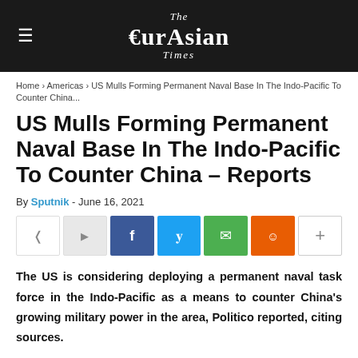The EurAsian Times
Home › Americas › US Mulls Forming Permanent Naval Base In The Indo-Pacific To Counter China...
US Mulls Forming Permanent Naval Base In The Indo-Pacific To Counter China – Reports
By Sputnik - June 16, 2021
[Figure (infographic): Social share buttons: share icon, Facebook, Twitter, WhatsApp, Reddit, plus button]
The US is considering deploying a permanent naval task force in the Indo-Pacific as a means to counter China's growing military power in the area, Politico reported, citing sources.